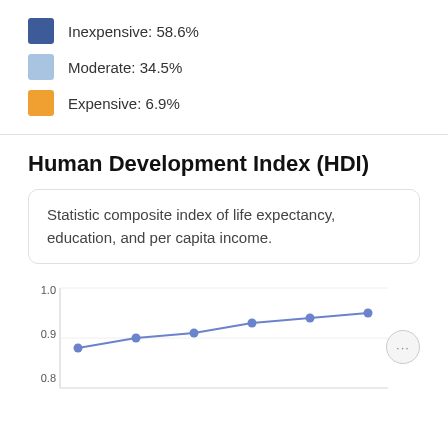Inexpensive: 58.6%
Moderate: 34.5%
Expensive: 6.9%
Human Development Index (HDI)
Statistic composite index of life expectancy, education, and per capita income.
[Figure (line-chart): Human Development Index (HDI)]